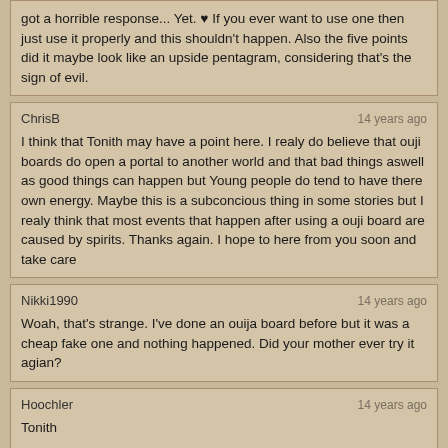got a horrible response... Yet. ♥ If you ever want to use one then just use it properly and this shouldn't happen. Also the five points did it maybe look like an upside pentagram, considering that's the sign of evil.
ChrisB — 14 years ago
I think that Tonith may have a point here. I realy do believe that ouji boards do open a portal to another world and that bad things aswell as good things can happen but Young people do tend to have there own energy. Maybe this is a subconcious thing in some stories but I realy think that most events that happen after using a ouji board are caused by spirits. Thanks again. I hope to here from you soon and take care
Nikki1990 — 14 years ago
Woah, that's strange. I've done an ouija board before but it was a cheap fake one and nothing happened. Did your mother ever try it agian?
Hoochler — 14 years ago
Tonith